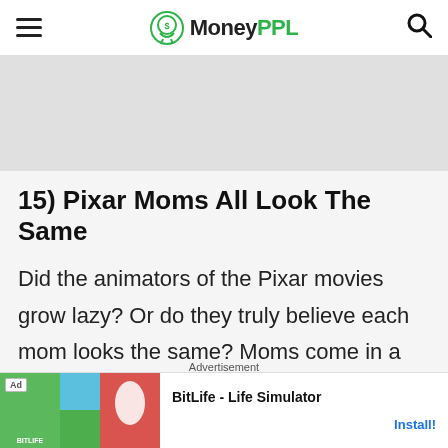MoneyPPL
[Figure (other): Gray advertisement banner placeholder]
15) Pixar Moms All Look The Same
Did the animators of the Pixar movies grow lazy? Or do they truly believe each mom looks the same? Moms come in a variety of
Advertisement
[Figure (screenshot): BitLife - Life Simulator app advertisement with Install button]